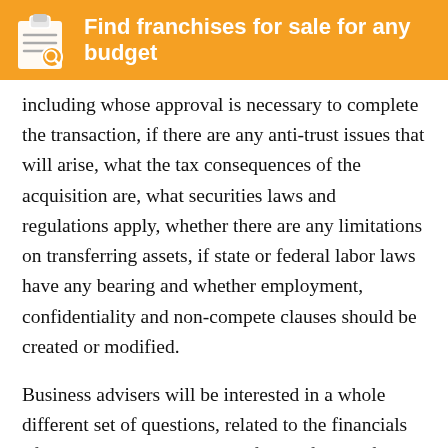[Figure (other): Orange banner with clipboard/checklist icon and text 'Find franchises for sale for any budget']
including whose approval is necessary to complete the transaction, if there are any anti-trust issues that will arise, what the tax consequences of the acquisition are, what securities laws and regulations apply, whether there are any limitations on transferring assets, if state or federal labor laws have any bearing and whether employment, confidentiality and non-compete clauses should be created or modified.
Business advisers will be interested in a whole different set of questions, related to the financials of the target, and the outlook for the future of the